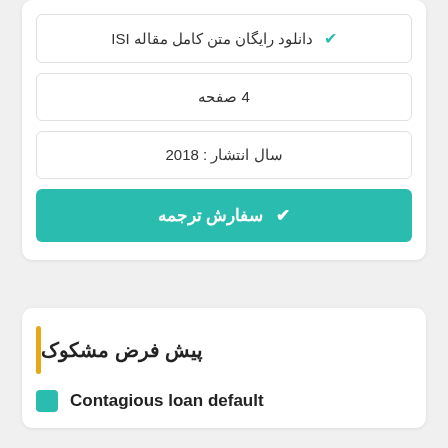✔ دانلود رایگان متن کامل مقاله ISI
4 صفحه
سال انتشار : 2018
✔ سفارش ترجمه
پیش فرض مشکوک
Contagious loan default